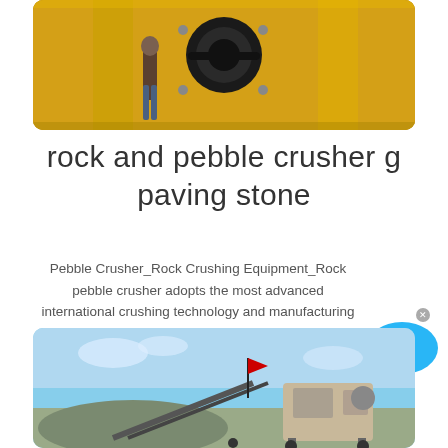[Figure (photo): Yellow industrial crusher machine with a person standing near it, close-up view of mechanical components]
rock and pebble crusher g paving stone
Pebble Crusher_Rock Crushing Equipment_Rock pebble crusher adopts the most advanced international crushing technology and manufacturing level, mainly dominated crushed cobblestone and other hard rock, especially for crushing hard and strong abrasive materials specification in 37 cm Compared with the traditional crusher, whether the high service life, low repair rate and low
[Figure (photo): Outdoor quarry or mining site with a mobile crushing and conveyor system under a blue sky with a red flag]